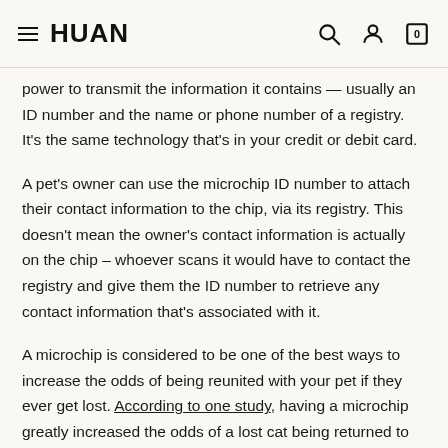HUAN
power to transmit the information it contains — usually an ID number and the name or phone number of a registry. It's the same technology that's in your credit or debit card.
A pet's owner can use the microchip ID number to attach their contact information to the chip, via its registry. This doesn't mean the owner's contact information is actually on the chip – whoever scans it would have to contact the registry and give them the ID number to retrieve any contact information that's associated with it.
A microchip is considered to be one of the best ways to increase the odds of being reunited with your pet if they ever get lost. According to one study, having a microchip greatly increased the odds of a lost cat being returned to its owner — less than 2 percent of cats